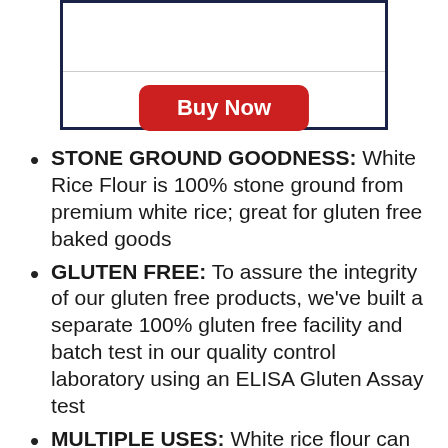[Figure (other): Box with a horizontal divider and a red Buy Now button]
STONE GROUND GOODNESS: White Rice Flour is 100% stone ground from premium white rice; great for gluten free baked goods
GLUTEN FREE: To assure the integrity of our gluten free products, we've built a separate 100% gluten free facility and batch test in our quality control laboratory using an ELISA Gluten Assay test
MULTIPLE USES: White rice flour can be used to bake cakes, cookies,